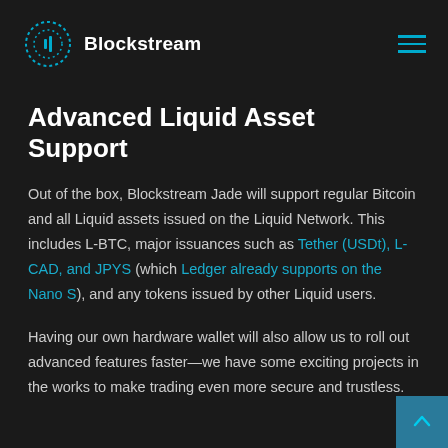Blockstream
Advanced Liquid Asset Support
Out of the box, Blockstream Jade will support regular Bitcoin and all Liquid assets issued on the Liquid Network. This includes L-BTC, major issuances such as Tether (USDt), L-CAD, and JPYS (which Ledger already supports on the Nano S), and any tokens issued by other Liquid users.
Having our own hardware wallet will also allow us to roll out advanced features faster—we have some exciting projects in the works to make trading even more secure and trustless.